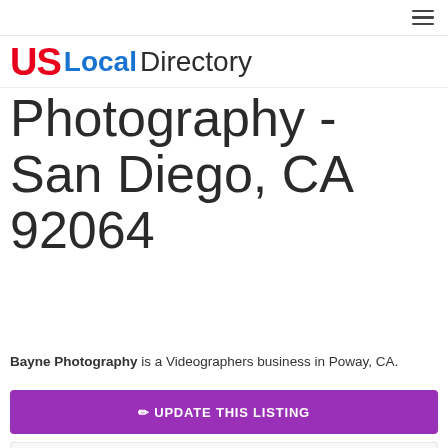US Local Directory — navigation menu icon
[Figure (logo): US Local Directory logo: 'US' in bold red, 'Local' in bold blue, 'Directory' in dark gray]
Bayne Photography - San Diego, CA 92064
Bayne Photography is a Videographers business in Poway, CA.
✏ UPDATE THIS LISTING